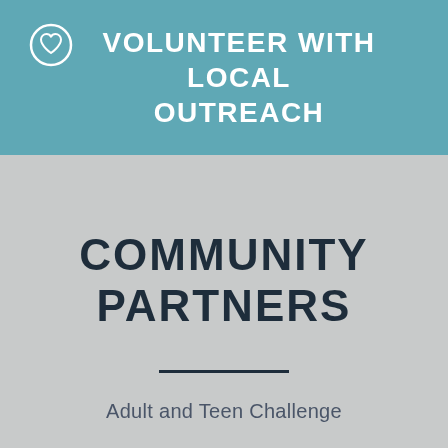VOLUNTEER WITH LOCAL OUTREACH
COMMUNITY PARTNERS
Adult and Teen Challenge